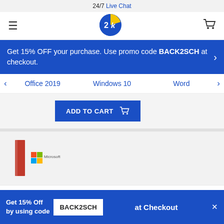24/7 Live Chat
[Figure (logo): EK logo — blue and yellow circular emblem with '2k' text]
Get 15% OFF your purchase. Use promo code BACK2SCH at checkout.
Office 2019
Windows 10
Word
ADD TO CART
[Figure (photo): Microsoft product box — red vertical box with Microsoft logo]
Get 15% Off by using code BACK2SCH at Checkout